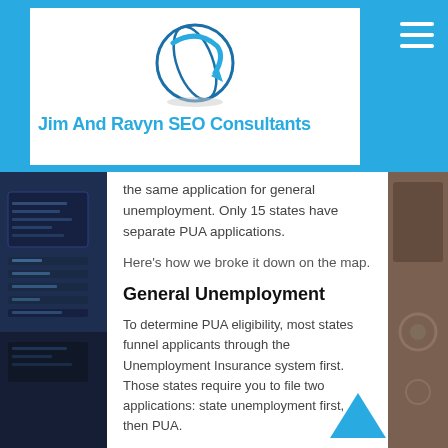Jim And Ravyn SEO Consultants
the same application for general unemployment. Only 15 states have separate PUA applications.
Here’s how we broke it down on the map.
General Unemployment
To determine PUA eligibility, most states funnel applicants through the Unemployment Insurance system first. Those states require you to file two applications: state unemployment first, then PUA.